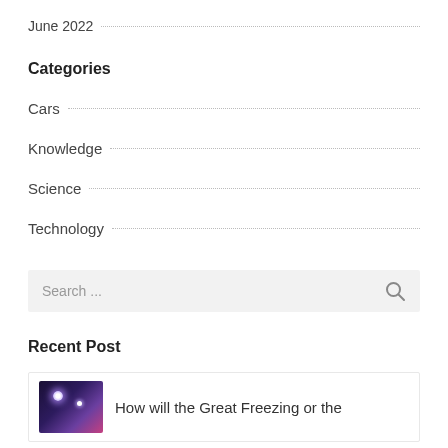June 2022
Categories
Cars
Knowledge
Science
Technology
Search ...
Recent Post
How will the Great Freezing or the